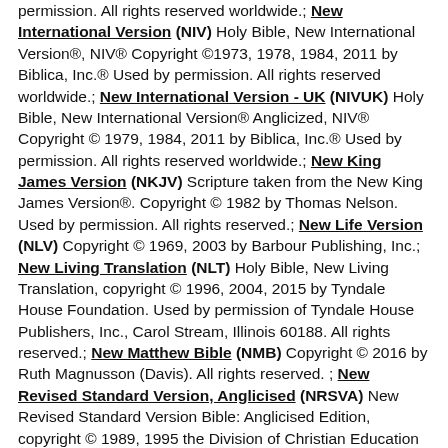permission. All rights reserved worldwide.; New International Version (NIV) Holy Bible, New International Version®, NIV® Copyright ©1973, 1978, 1984, 2011 by Biblica, Inc.® Used by permission. All rights reserved worldwide.; New International Version - UK (NIVUK) Holy Bible, New International Version® Anglicized, NIV® Copyright © 1979, 1984, 2011 by Biblica, Inc.® Used by permission. All rights reserved worldwide.; New King James Version (NKJV) Scripture taken from the New King James Version®. Copyright © 1982 by Thomas Nelson. Used by permission. All rights reserved.; New Life Version (NLV) Copyright © 1969, 2003 by Barbour Publishing, Inc.; New Living Translation (NLT) Holy Bible, New Living Translation, copyright © 1996, 2004, 2015 by Tyndale House Foundation. Used by permission of Tyndale House Publishers, Inc., Carol Stream, Illinois 60188. All rights reserved.; New Matthew Bible (NMB) Copyright © 2016 by Ruth Magnusson (Davis). All rights reserved. ; New Revised Standard Version, Anglicised (NRSVA) New Revised Standard Version Bible: Anglicised Edition, copyright © 1989, 1995 the Division of Christian Education of the National Council of the Churches of Christ in the United States of America. Used by permission. All rights reserved.; New Revised Standard